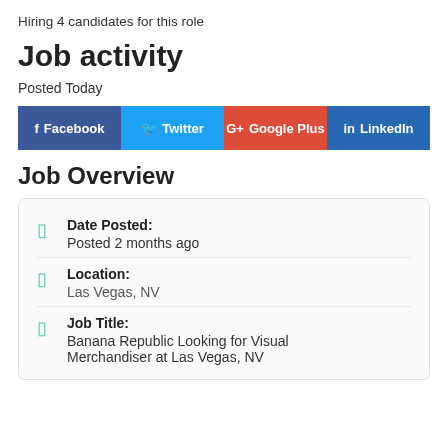Hiring 4 candidates for this role
Job activity
Posted Today
[Figure (infographic): Social sharing buttons: Facebook, Twitter, Google Plus, LinkedIn]
Job Overview
| Field | Value |
| --- | --- |
| Date Posted: | Posted 2 months ago |
| Location: | Las Vegas, NV |
| Job Title: | Banana Republic Looking for Visual Merchandiser at Las Vegas, NV |